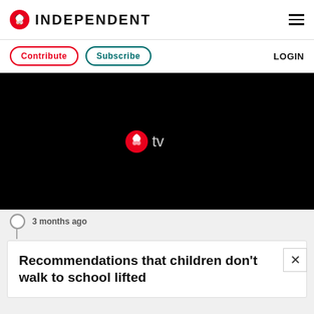INDEPENDENT
Contribute  Subscribe  LOGIN
[Figure (screenshot): Black video player area showing Independent TV logo (red eagle icon) with 'tv' text label]
3 months ago
Recommendations that children don't walk to school lifted